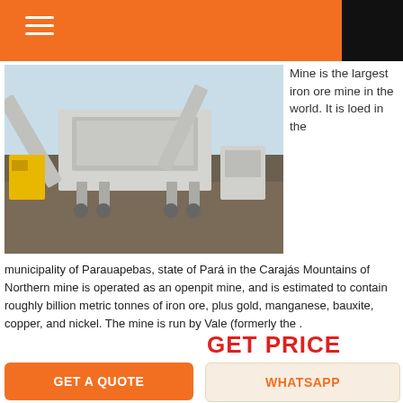[Figure (photo): Large industrial mining crusher/screening machine on a mine site with conveyor belts, photographed outdoors.]
Mine is the largest iron ore mine in the world. It is loed in the municipality of Parauapebas, state of Pará in the Carajás Mountains of Northern mine is operated as an openpit mine, and is estimated to contain roughly billion metric tonnes of iron ore, plus gold, manganese, bauxite, copper, and nickel. The mine is run by Vale (formerly the .
GET PRICE
GET A QUOTE
WHATSAPP